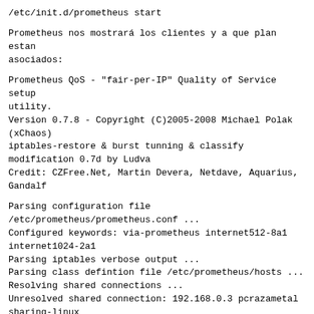/etc/init.d/prometheus start
Prometheus nos mostrará los clientes y a que plan estan asociados:
Prometheus QoS - "fair-per-IP" Quality of Service setup utility.
Version 0.7.8 - Copyright (C)2005-2008 Michael Polak (xChaos)
iptables-restore & burst tunning & classify modification 0.7d by Ludva
Credit: CZFree.Net, Martin Devera, Netdave, Aquarius, Gandalf
Parsing configuration file /etc/prometheus/prometheus.conf ...
Configured keywords: via-prometheus internet512-8a1 internet1024-2a1
Parsing iptables verbose output ...
Parsing class defintion file /etc/prometheus/hosts ...
Resolving shared connections ...
Unresolved shared connection: 192.168.0.3 pcrazametal sharing-linux
Unresolved shared connection: 192.168.0.2 pcmonitoreo sharing-linux
Parsing credit file /var/lib/misc/prometheus.credit ...
Initializing iptables and tc classes ...
Running /sbin/iptables-restore
[b]Para tener en cuenta:[/b]